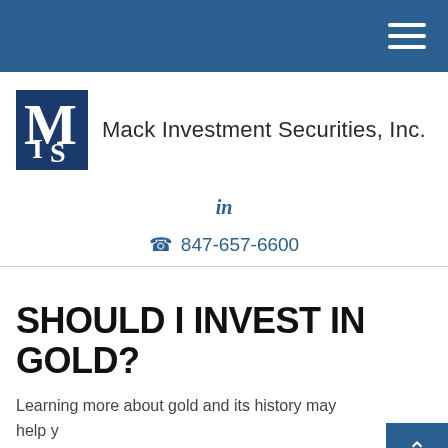Navigation header bar with hamburger menu
[Figure (logo): Mack Investment Securities, Inc. logo with stylized MIS monogram in dark blue box followed by company name in dark text]
in
847-657-6600
SHOULD I INVEST IN GOLD?
Learning more about gold and its history may help you decide whether it has a place in your portfolio.